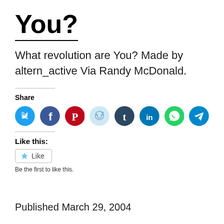You?
What revolution are You? Made by altern_active Via Randy McDonald.
Share
[Figure (infographic): Row of circular social media share buttons: Twitter (cyan), Facebook (blue), Pinterest (red), Reddit (light blue/grey), Tumblr (dark navy), LinkedIn (dark teal), WhatsApp (green), Telegram (blue)]
Like this:
Like
Be the first to like this.
Published March 29, 2004